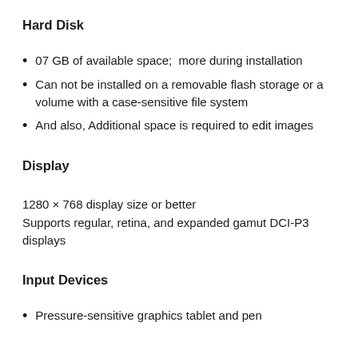Hard Disk
07 GB of available space;  more during installation
Can not be installed on a removable flash storage or a volume with a case-sensitive file system
And also, Additional space is required to edit images
Display
1280 × 768 display size or better
Supports regular, retina, and expanded gamut DCI-P3 displays
Input Devices
Pressure-sensitive graphics tablet and pen